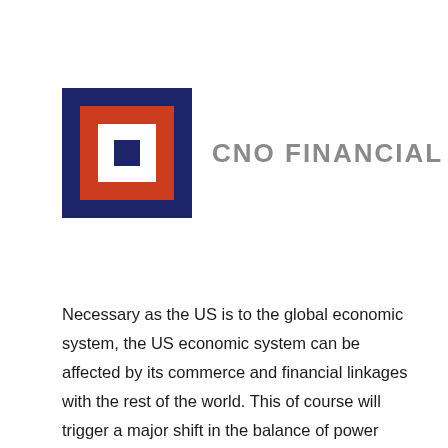[Figure (logo): CNO Financial Group logo: a dark navy blue square border containing a red/orange square containing a white square with a small dark navy square in the center, followed by the text 'CNO FINANCIAL GROUP' in grey sans-serif letters]
Necessary as the US is to the global economic system, the US economic system can be affected by its commerce and financial linkages with the rest of the world. This of course will trigger a major shift in the balance of power